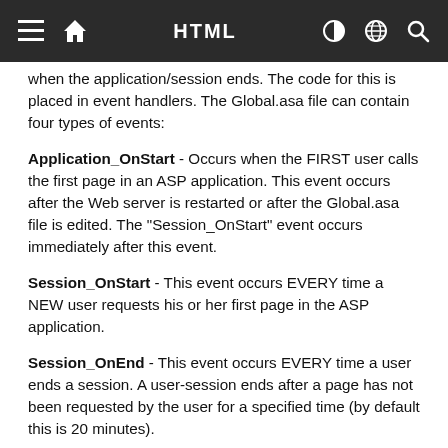HTML
when the application/session ends. The code for this is placed in event handlers. The Global.asa file can contain four types of events:
Application_OnStart - Occurs when the FIRST user calls the first page in an ASP application. This event occurs after the Web server is restarted or after the Global.asa file is edited. The "Session_OnStart" event occurs immediately after this event.
Session_OnStart - This event occurs EVERY time a NEW user requests his or her first page in the ASP application.
Session_OnEnd - This event occurs EVERY time a user ends a session. A user-session ends after a page has not been requested by the user for a specified time (by default this is 20 minutes).
Application_OnEnd - This event occurs after the LAST user